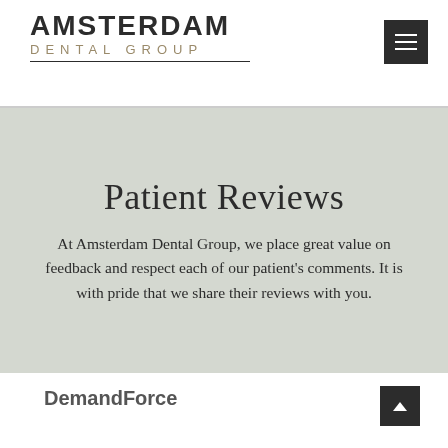AMSTERDAM DENTAL GROUP
Patient Reviews
At Amsterdam Dental Group, we place great value on feedback and respect each of our patient's comments. It is with pride that we share their reviews with you.
DemandForce